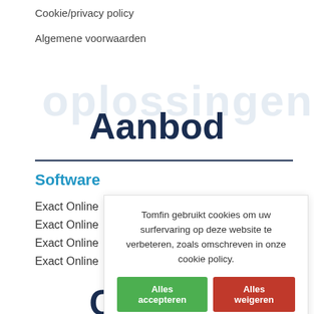Cookie/privacy policy
Algemene voorwaarden
Aanbod
Software
Exact Online
Exact Online
Exact Online
Exact Online
[Figure (screenshot): Cookie consent dialog with text: Tomfin gebruikt cookies om uw surfervaring op deze website te verbeteren, zoals omschreven in onze cookie policy. With two buttons: Alles accepteren (green) and Alles weigeren (red).]
Contact